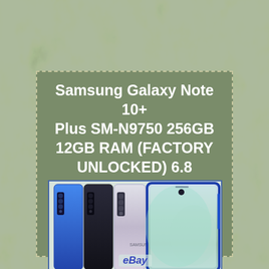[Figure (photo): Marble/cloudy grey-green textured background filling the entire page]
Samsung Galaxy Note 10+ Plus SM-N9750 256GB 12GB RAM (FACTORY UNLOCKED) 6.8
[Figure (photo): Product photo showing multiple Samsung Galaxy Note 10+ phones in blue, black, and silver/aurora colorways, front and back views, with eBay watermark at the bottom]